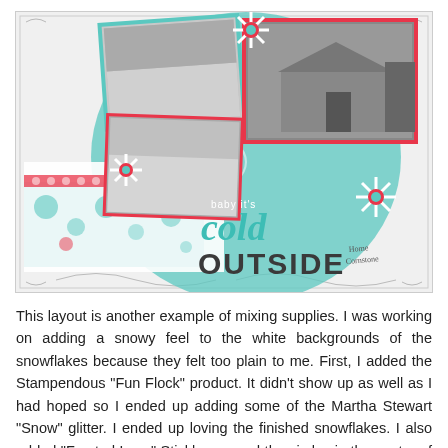[Figure (photo): A scrapbook layout page featuring winter/snowy photographs of a house and outdoor scenes. The page has a teal/turquoise color scheme with decorative elements including snowflakes, doily borders, teal circle pattern, red accents, and text reading 'Baby it's cold outside'.]
This layout is another example of mixing supplies. I was working on adding a snowy feel to the white backgrounds of the snowflakes because they felt too plain to me. First, I added the Stampendous "Fun Flock" product. It didn't show up as well as I had hoped so I ended up adding some of the Martha Stewart "Snow" glitter. I ended up loving the finished snowflakes. I also added "Frosted Lace" Stickles around the circles in the center of the snowflakes and around the outer edges of the die cut paper.